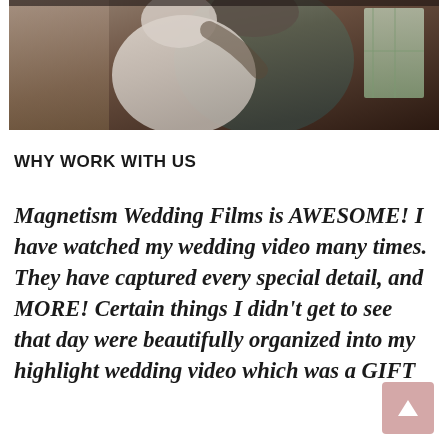[Figure (photo): Wedding photo showing a bride in a white dress being embraced by a groom in a dark suit, with a window visible in the background. Image is partially cropped at the top.]
WHY WORK WITH US
Magnetism Wedding Films is AWESOME! I have watched my wedding video many times. They have captured every special detail, and MORE! Certain things I didn't get to see that day were beautifully organized into my highlight wedding video which was a GIFT